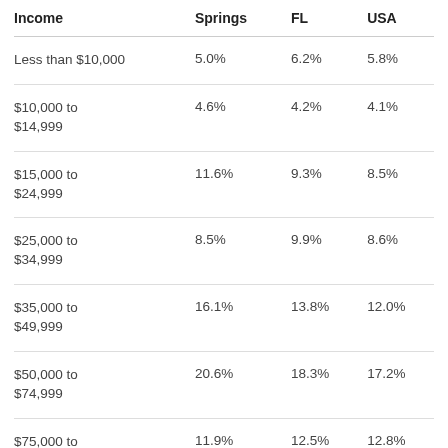| Income | Springs | FL | USA |
| --- | --- | --- | --- |
| Less than $10,000 | 5.0% | 6.2% | 5.8% |
| $10,000 to $14,999 | 4.6% | 4.2% | 4.1% |
| $15,000 to $24,999 | 11.6% | 9.3% | 8.5% |
| $25,000 to $34,999 | 8.5% | 9.9% | 8.6% |
| $35,000 to $49,999 | 16.1% | 13.8% | 12.0% |
| $50,000 to $74,999 | 20.6% | 18.3% | 17.2% |
| $75,000 to $99,999 | 11.9% | 12.5% | 12.8% |